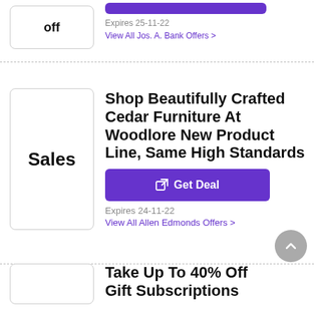Expires 25-11-22
View All Jos. A. Bank Offers >
Shop Beautifully Crafted Cedar Furniture At Woodlore New Product Line, Same High Standards
Get Deal
Expires 24-11-22
View All Allen Edmonds Offers >
Take Up To 40% Off Gift Subscriptions